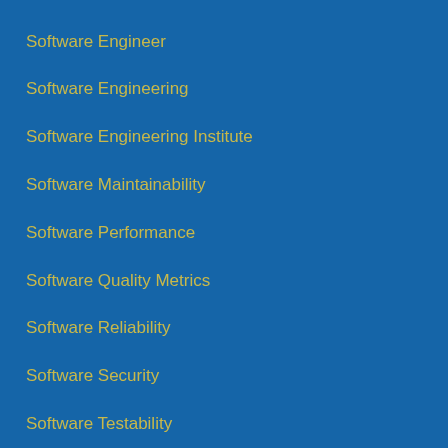Software Engineer
Software Engineering
Software Engineering Institute
Software Maintainability
Software Performance
Software Quality Metrics
Software Reliability
Software Security
Software Testability